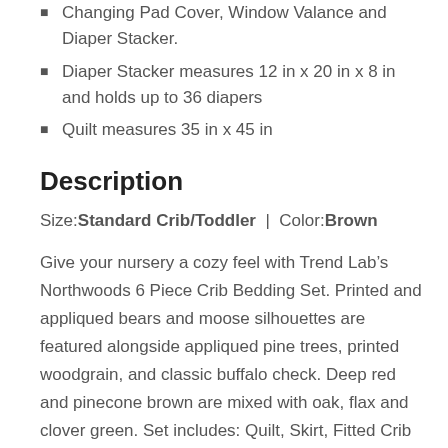Changing Pad Cover, Window Valance and Diaper Stacker.
Diaper Stacker measures 12 in x 20 in x 8 in and holds up to 36 diapers
Quilt measures 35 in x 45 in
Description
Size: Standard Crib/Toddler | Color: Brown
Give your nursery a cozy feel with Trend Lab’s Northwoods 6 Piece Crib Bedding Set. Printed and appliqued bears and moose silhouettes are featured alongside appliqued pine trees, printed woodgrain, and classic buffalo check. Deep red and pinecone brown are mixed with oak, flax and clover green. Set includes: Quilt, Skirt, Fitted Crib Sheet, Flannel Crib Sheet, Changing Pad Cover and Diaper Stacker. Reversible quilt measures 35 in x 45 in and